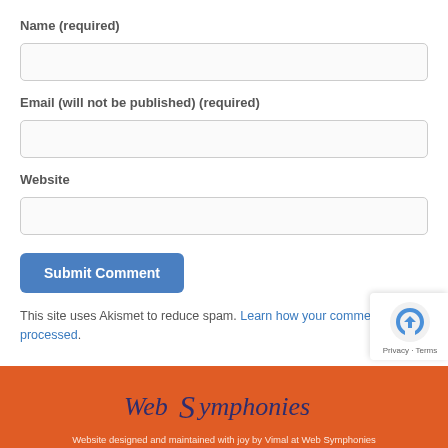Name (required)
[Figure (other): Text input field for Name]
Email (will not be published) (required)
[Figure (other): Text input field for Email]
Website
[Figure (other): Text input field for Website]
[Figure (other): Submit Comment button (blue rounded rectangle)]
This site uses Akismet to reduce spam. Learn how your comment data is processed.
[Figure (logo): WebSymphonies logo on orange footer bar]
Website designed and maintained with joy by Vimal at Web Symphonies
[Figure (other): reCAPTCHA badge with Privacy and Terms links]